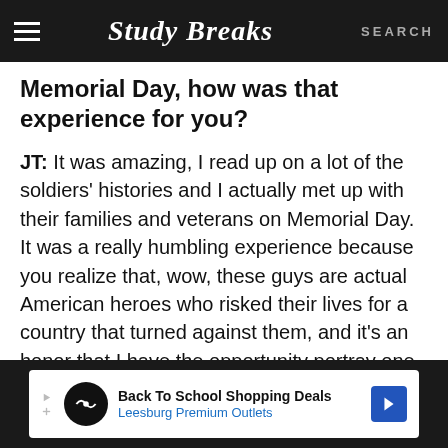Study Breaks — SEARCH
Memorial Day, how was that experience for you?
JT: It was amazing, I read up on a lot of the soldiers' histories and I actually met up with their families and veterans on Memorial Day. It was a really humbling experience because you realize that, wow, these guys are actual American heroes who risked their lives for a country that turned against them, and it's an honor that I have the opportunity portray one of these amazin g men
[Figure (screenshot): Advertisement banner: Back To School Shopping Deals — Leesburg Premium Outlets]